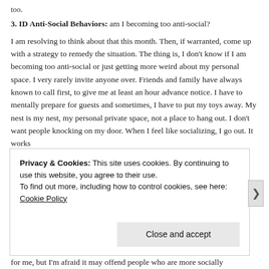too.
3.  ID Anti-Social Behaviors:  am I becoming too anti-social?
I am resolving to think about that this month.  Then, if warranted, come up with a strategy to remedy the situation.  The thing is, I don't know if I am becoming too anti-social or just getting  more weird about my personal space.  I very rarely invite anyone over. Friends and family have always known to call first, to give me at least an hour advance notice.  I have to mentally prepare for guests and sometimes, I have to put my toys away.  My nest is my nest, my personal private space, not a place to hang out.   I don't want people knocking on my door.  When I feel like socializing, I go out.   It works for me,  but I'm afraid it may offend people who are more socially
Privacy & Cookies: This site uses cookies. By continuing to use this website, you agree to their use.
To find out more, including how to control cookies, see here: Cookie Policy
Close and accept